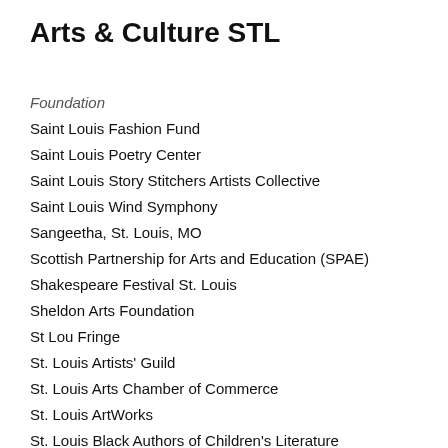Arts & Culture STL
Foundation
Saint Louis Fashion Fund
Saint Louis Poetry Center
Saint Louis Story Stitchers Artists Collective
Saint Louis Wind Symphony
Sangeetha, St. Louis, MO
Scottish Partnership for Arts and Education (SPAE)
Shakespeare Festival St. Louis
Sheldon Arts Foundation
St Lou Fringe
St. Louis Artists' Guild
St. Louis Arts Chamber of Commerce
St. Louis ArtWorks
St. Louis Black Authors of Children's Literature
St. Louis Cathedral Concerts
St. Louis Chamber Chorus
St. Louis Classical Guitar